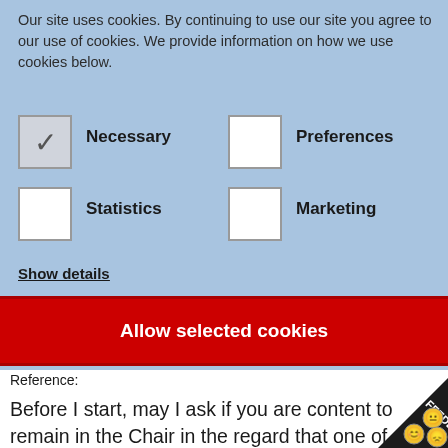Our site uses cookies. By continuing to use our site you agree to our use of cookies. We provide information on how we use cookies below.
[Figure (screenshot): Cookie consent banner with checkboxes for Necessary (checked), Preferences, Statistics, and Marketing options, plus Show details link and Allow selected cookies button]
Reference:
Before I start, may I ask if you are content to remain in the Chair in the regard that one of my supplementaries may stray into talking about the separation of powers ...